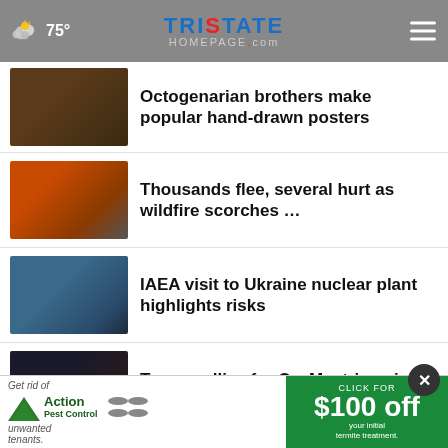75° Tristate Homepage.com
Octogenarian brothers make popular hand-drawn posters
Thousands flee, several hurt as wildfire scorches …
IAEA visit to Ukraine nuclear plant highlights risks
Trump rallies for Oz, Mastriano in Pa. amid midterm …
Cherry Street project extended; Mayor tells more
Someone Flees students learned for
[Figure (screenshot): Action Pest Control advertisement banner with green right panel offering $100 off initial termite treatment]